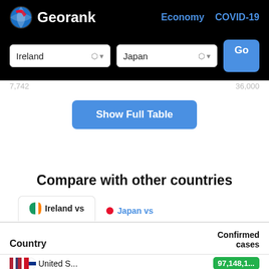Georank — Economy COVID-19
Ireland ⬍   Japan ⬍   Go
7,742   36,000
Show Full Table
Compare with other countries
Ireland vs   Japan vs
| Country | Confirmed cases |
| --- | --- |